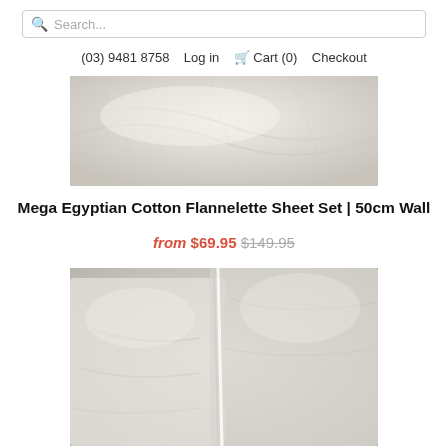Search...
(03) 9481 8758  Log in  Cart (0)  Checkout
[Figure (photo): Close-up of white/cream fabric with soft folds]
Mega Egyptian Cotton Flannelette Sheet Set | 50cm Wall
from $69.95 $149.95
[Figure (photo): White bed pillows and sheets arranged neatly, close-up view]